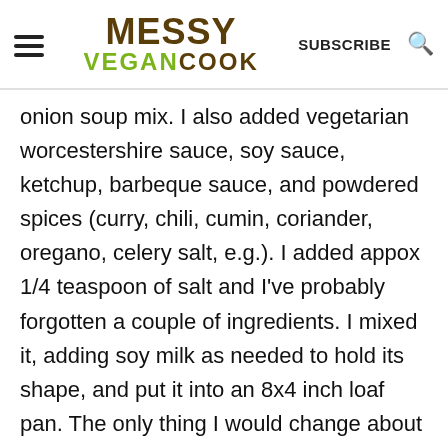MESSY VEGAN COOK — SUBSCRIBE
onion soup mix. I also added vegetarian worcestershire sauce, soy sauce, ketchup, barbeque sauce, and powdered spices (curry, chili, cumin, coriander, oregano, celery salt, e.g.). I added appox 1/4 teaspoon of salt and I've probably forgotten a couple of ingredients. I mixed it, adding soy milk as needed to hold its shape, and put it into an 8x4 inch loaf pan. The only thing I would change about what I did was that I cooked it at 350